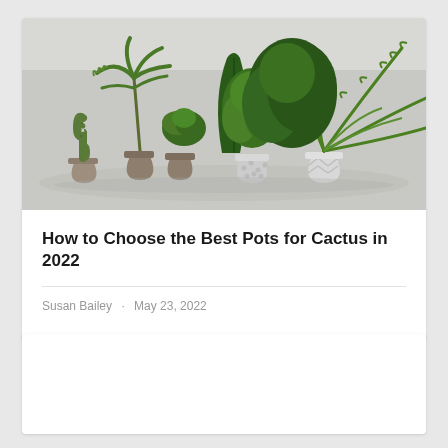[Figure (illustration): A collection of potted plants including a cactus, palm-like plants, ferns, and various green plants arranged together against a light grey background]
How to Choose the Best Pots for Cactus in 2022
Susan Bailey · May 23, 2022